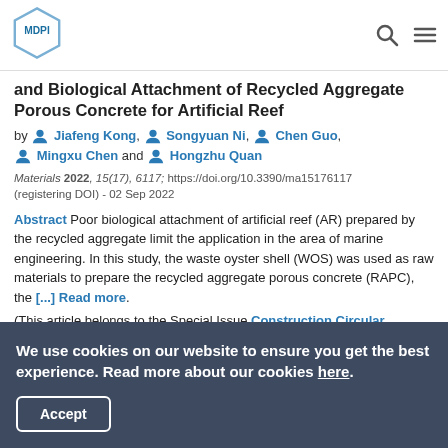MDPI
and Biological Attachment of Recycled Aggregate Porous Concrete for Artificial Reef
by Jiafeng Kong, Songyuan Ni, Chen Guo, Mingxu Chen and Hongzhu Quan
Materials 2022, 15(17), 6117; https://doi.org/10.3390/ma15176117 (registering DOI) - 02 Sep 2022
Abstract Poor biological attachment of artificial reef (AR) prepared by the recycled aggregate limit the application in the area of marine engineering. In this study, the waste oyster shell (WOS) was used as raw materials to prepare the recycled aggregate porous concrete (RAPC), the [...] Read more.
(This article belongs to the Special Issue Construction Circular Economy: Recycling Construction and Demolition Wastes)
We use cookies on our website to ensure you get the best experience. Read more about our cookies here.
Accept